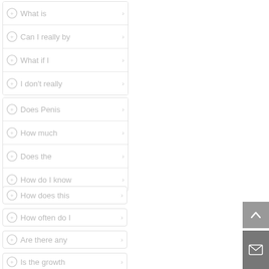What is
Can I really by
What if I
I don't really
Does Penis
How much
Does the
How do I know
How does this
How often do I
Are there any
Is the growth
Do I need to
What happens
Is this program